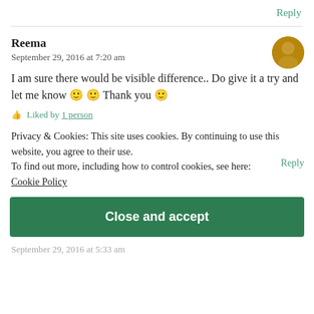Reply
Reema
September 29, 2016 at 7:20 am
I am sure there would be visible difference.. Do give it a try and let me know 🙂 🙂 Thank you 🙂
Liked by 1 person
Privacy & Cookies: This site uses cookies. By continuing to use this website, you agree to their use.
To find out more, including how to control cookies, see here:
Cookie Policy
Reply
Close and accept
September 29, 2016 at 5:33 am